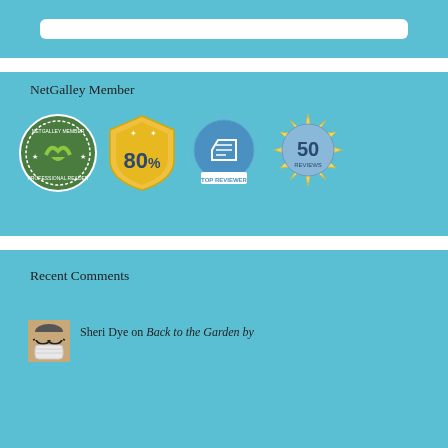[Figure (other): Top teal panel with white rounded input/search bar]
NetGalley Member
[Figure (infographic): Four NetGalley badges: NetGalley Member Professional Reader badge (green circular), 80% (gold shield), Top Reviewer (blue circle with checkmark), 50 Reviews (gold sunburst)]
Recent Comments
[Figure (photo): Small avatar photo of person wearing glasses and mask]
Sheri Dye on Back to the Garden by